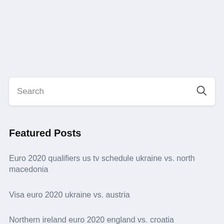[Figure (screenshot): Search input box with placeholder text 'Search' and a magnifying glass icon on the right]
Featured Posts
Euro 2020 qualifiers us tv schedule ukraine vs. north macedonia
Visa euro 2020 ukraine vs. austria
Northern ireland euro 2020 england vs. croatia
How to live for free poland vs. slovakia